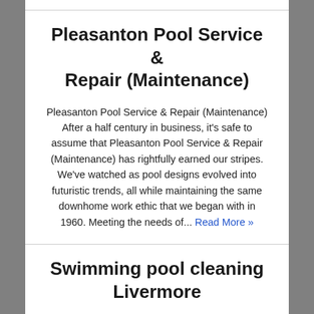Pleasanton Pool Service & Repair (Maintenance)
Pleasanton Pool Service & Repair (Maintenance) After a half century in business, it's safe to assume that Pleasanton Pool Service & Repair (Maintenance) has rightfully earned our stripes. We've watched as pool designs evolved into futuristic trends, all while maintaining the same downhome work ethic that we began with in 1960. Meeting the needs of... Read More »
Swimming pool cleaning Livermore